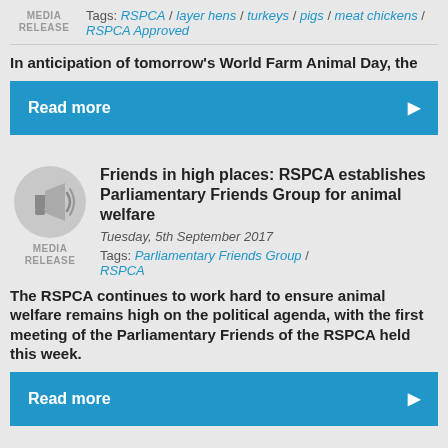MEDIA RELEASE
Tags: RSPCA / layer hens / turkeys / pigs / meat chickens / RSPCA Approved
In anticipation of tomorrow's World Farm Animal Day, the
Read more
Friends in high places: RSPCA establishes Parliamentary Friends Group for animal welfare
Tuesday, 5th September 2017
MEDIA RELEASE
Tags: Parliamentary Friends Group / RSPCA
The RSPCA continues to work hard to ensure animal welfare remains high on the political agenda, with the first meeting of the Parliamentary Friends of the RSPCA held this week.
Read more
RSPCA thanks Hill's for a million kilos of pet food